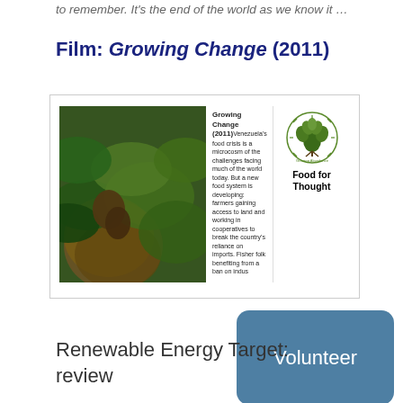to remember. It's the end of the world as we know it …
Film: Growing Change (2011)
[Figure (screenshot): Screenshot of the film 'Growing Change (2011)' showing a woman's face surrounded by large green leaves on the left, a text description in the center reading 'Growing Change (2011) Venezuela's food crisis is a microcosm of the challenges facing much of the world today. But a new food system is developing: farmers gaining access to land and working in cooperatives to break the country's reliance on imports. Fisher folk benefiting from a ban on indus-', and a Growing Abundance logo with 'Food for Thought' text on the right.]
Renewable Energy Target: review